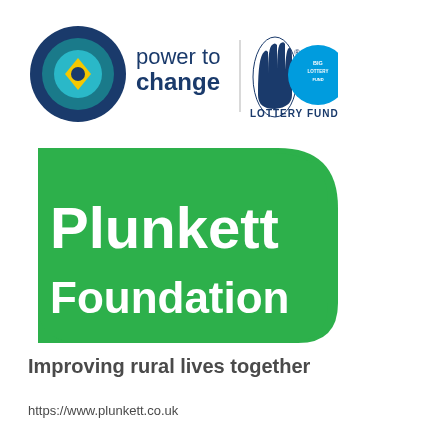[Figure (logo): Power to Change logo with National Lottery Funded logos - circular blue/teal target with yellow diamond shape, text 'power to change' in blue/dark navy, vertical divider, lottery hand logo, and 'Big Lottery Fund - Lottery Funded' circular badge]
[Figure (logo): Plunkett Foundation logo - green rounded rectangle shape with white bold text 'Plunkett Foundation' and tagline 'Improving rural lives together' in dark grey below]
https://www.plunkett.co.uk